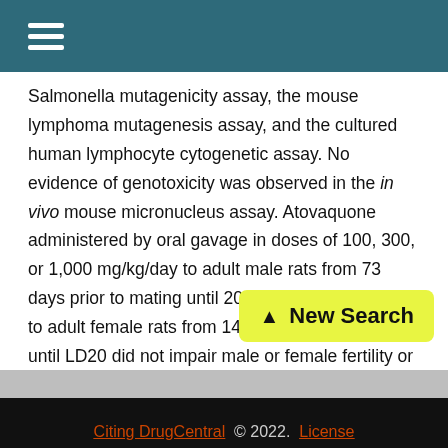≡ (hamburger menu)
Salmonella mutagenicity assay, the mouse lymphoma mutagenesis assay, and the cultured human lymphocyte cytogenetic assay. No evidence of genotoxicity was observed in the in vivo mouse micronucleus assay. Atovaquone administered by oral gavage in doses of 100, 300, or 1,000 mg/kg/day to adult male rats from 73 days prior to mating until 20 days after mating and to adult female rats from 14 days prior to mating until LD20 did not impair male or female fertility or early embryonic development at doses up to 1,000 mg/kg/day corresponding to plasma exposures times the estimated human exposure
[Figure (other): Yellow 'New Search' button with upward arrow icon, overlaid on the main text area in the bottom-right region]
Citing DrugCentral © 2022. License